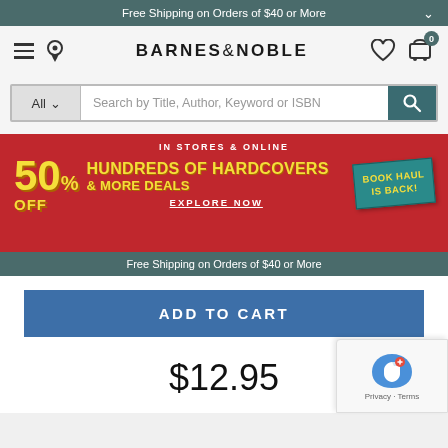Free Shipping on Orders of $40 or More
[Figure (screenshot): Barnes & Noble website header with hamburger menu, location pin icon, Barnes & Noble logo, heart/wishlist icon, and shopping cart icon with 0 badge]
[Figure (screenshot): Search bar with All dropdown and search input placeholder: Search by Title, Author, Keyword or ISBN, with teal search button]
[Figure (screenshot): Promotional banner: IN STORES & ONLINE, 50% OFF HUNDREDS OF HARDCOVERS & MORE DEALS, EXPLORE NOW, BOOK HAUL IS BACK! badge]
Free Shipping on Orders of $40 or More
ADD TO CART
$12.95